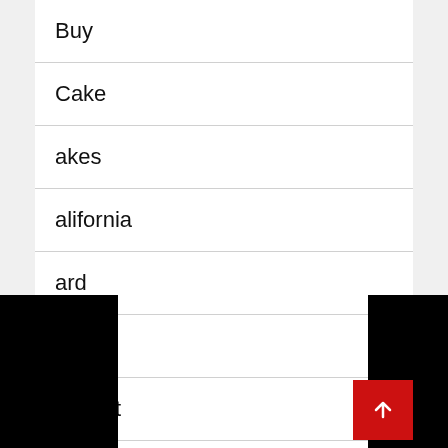Buy
Cake
akes
alifornia
ard
are
Carpet
Carrier